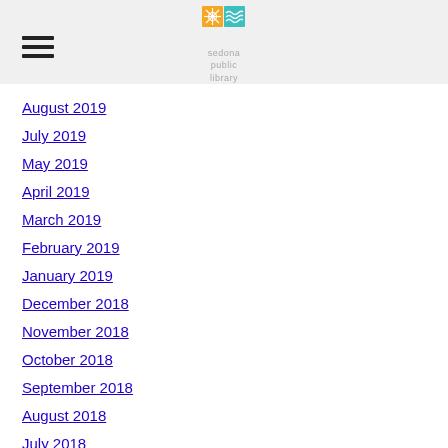[Figure (logo): Sedona Public Library logo with stylized icon and text 'sedona public library']
August 2019
July 2019
May 2019
April 2019
March 2019
February 2019
January 2019
December 2018
November 2018
October 2018
September 2018
August 2018
July 2018
June 2018